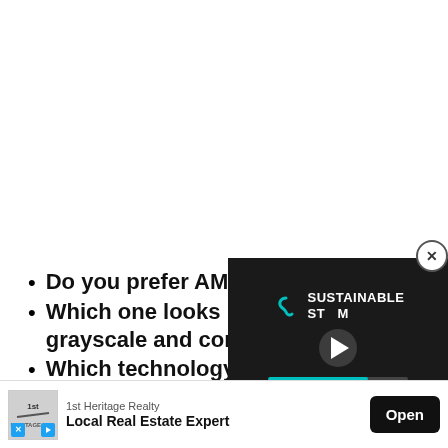Do you prefer AMOLED or IP...
Which one looks better to yo... grayscale and contrast)?
Which technology has progre...
Which individual factors do y... technology?
Can ... futu...
[Figure (screenshot): Video overlay with Sustainable Storm logo and play button on dark background with teal progress bar]
[Figure (screenshot): Advertisement banner for 1st Heritage Realty showing logo, Local Real Estate Expert tagline, and Open button]